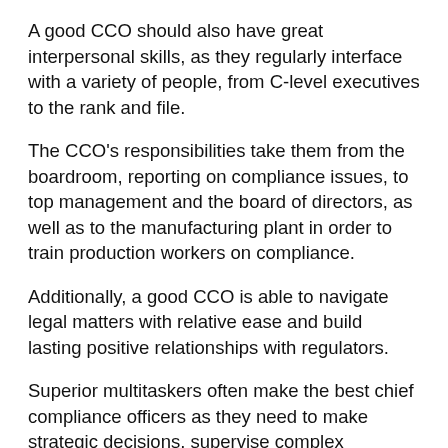A good CCO should also have great interpersonal skills, as they regularly interface with a variety of people, from C-level executives to the rank and file.
The CCO's responsibilities take them from the boardroom, reporting on compliance issues, to top management and the board of directors, as well as to the manufacturing plant in order to train production workers on compliance.
Additionally, a good CCO is able to navigate legal matters with relative ease and build lasting positive relationships with regulators.
Superior multitaskers often make the best chief compliance officers as they need to make strategic decisions, supervise complex monitoring programs, manage and educate highly skilled professionals, and even talk with other departments on issues relating to risk and control.